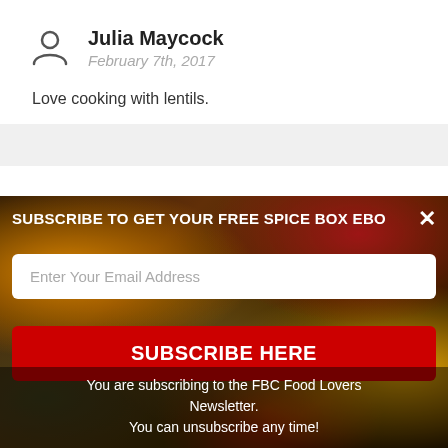Julia Maycock
February 7th, 2017
Love cooking with lentils.
[Figure (screenshot): Newsletter subscription popup overlay on a spice photo background. Contains text 'SUBSCRIBE TO GET YOUR FREE SPICE BOX EBO', an email input field, a red 'SUBSCRIBE HERE' button, and footer text 'You are subscribing to the FBC Food Lovers Newsletter. You can unsubscribe any time!']